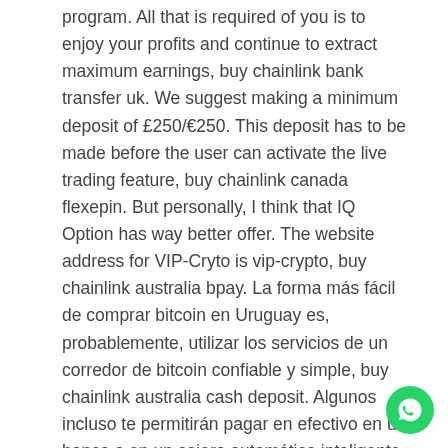program. All that is required of you is to enjoy your profits and continue to extract maximum earnings, buy chainlink bank transfer uk. We suggest making a minimum deposit of £250/€250. This deposit has to be made before the user can activate the live trading feature, buy chainlink canada flexepin. But personally, I think that IQ Option has way better offer. The website address for VIP-Cryto is vip-crypto, buy chainlink australia bpay. La forma más fácil de comprar bitcoin en Uruguay es, probablemente, utilizar los servicios de un corredor de bitcoin confiable y simple, buy chainlink australia cash deposit. Algunos incluso te permitirán pagar en efectivo en un banco o en un cajero automático inteligente. Bitcoin Trader acts as a reliable account manager while trading crypto, buy chainlink brazil. A big thank you to Bitcoin Trader. How to make money by trading Bitcoin. There are many methods one can use to make money in Bitcoin trading, here we will cover just the main option, buy chainlink cash australia.